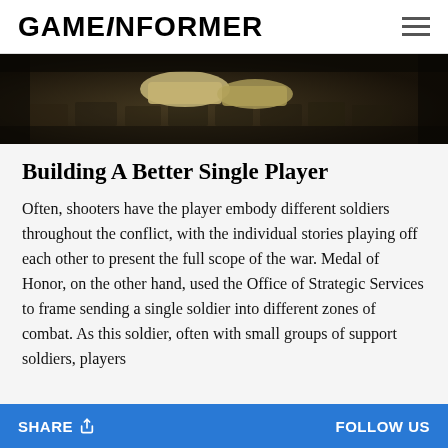GAMEINFORMER
[Figure (photo): Dark overhead/close-up game screenshot showing worn boots on cobblestone ground, very dark tones]
Building A Better Single Player
Often, shooters have the player embody different soldiers throughout the conflict, with the individual stories playing off each other to present the full scope of the war. Medal of Honor, on the other hand, used the Office of Strategic Services to frame sending a single soldier into different zones of combat. As this soldier, often with small groups of support soldiers, players
SHARE    FOLLOW US